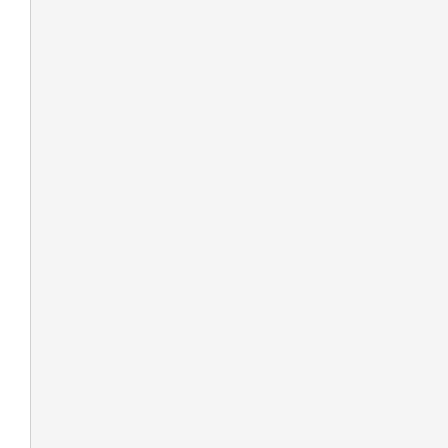com.daimajia.androidanimati
com.daimajia.androidanimati
com.daimajia.androidanimati
com.daimajia.androidanimati
com.daimajia.androidanimati
com.daimajia.androidanimati
com.daimajia.androidanimati
com.daimajia.androidanimati
com.daimajia.androidanimati
com.daimajia.androidanimati
com.daimajia.androidanimati
com.daimajia.androidanimati
com.daimajia.androidanimati
com.daimajia.androidanimati
com.daimajia.androidanimati
com.daimajia.androidanimati
com.daimajia.androidanimati
com.daimajia.androidanimati
com.daimajia.androidanimati
com.daimajia.androidanimati
com.daimajia.androidanimati
com.daimajia.androidanimati